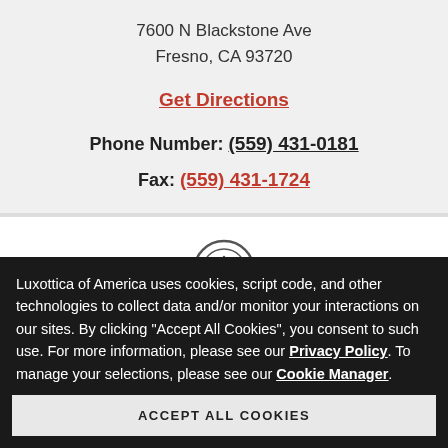7600 N Blackstone Ave
Fresno, CA 93720
Get Directions
Phone Number: (559) 431-0181
Fax: (559) 431-1724
[Figure (illustration): Clock icon circle with clock hands]
Store Hours
Luxottica of America uses cookies, script code, and other technologies to collect data and/or monitor your interactions on our sites. By clicking "Accept All Cookies", you consent to such use. For more information, please see our Privacy Policy. To manage your selections, please see our Cookie Manager.
ACCEPT ALL COOKIES